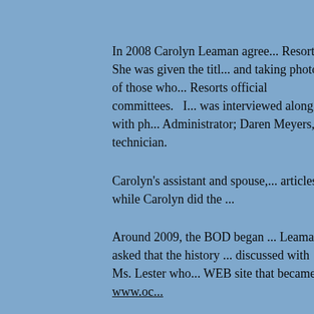In 2008 Carolyn Leaman agree... Resorts. She was given the titl... and taking photos of those who... Resorts official committees. ... was interviewed along with ph... Administrator; Daren Meyers, ... technician.
Carolyn's assistant and spouse, ... articles, while Carolyn did the ...
Around 2009, the BOD began ... Leaman asked that the history ... discussed with Ms. Lester who... WEB site that became www.oc...